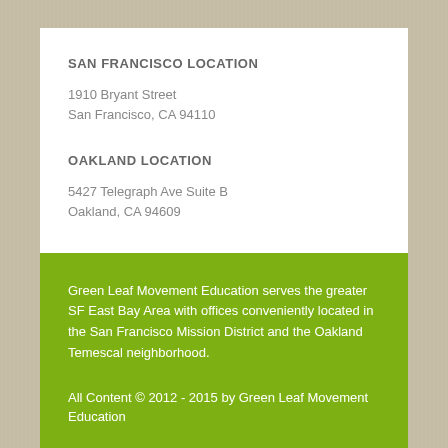SAN FRANCISCO LOCATION
1910 Bryant Street
San Francisco, CA 94110
OAKLAND LOCATION
5427 Telegraph Ave Suite B
Oakland, CA 94609
Green Leaf Movement Education serves the greater SF East Bay Area with offices conveniently located in the San Francisco Mission District and the Oakland Temescal neighborhood.
All Content © 2012 - 2015 by Green Leaf Movement Education